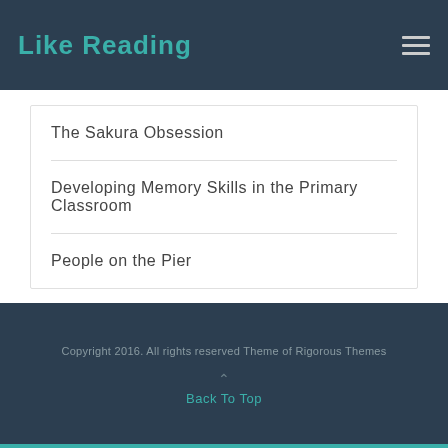Like Reading
The Sakura Obsession
Developing Memory Skills in the Primary Classroom
People on the Pier
Copyright 2016. All rights reserved Theme of Rigorous Themes
Back To Top